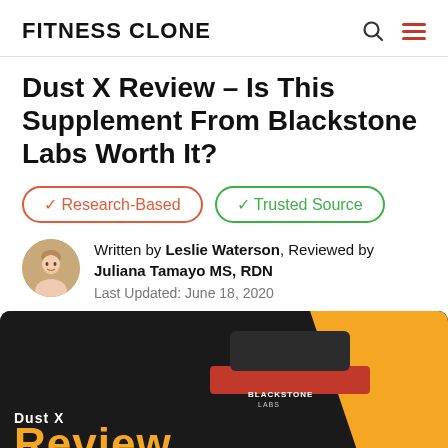FITNESS CLONE
Dust X Review – Is This Supplement From Blackstone Labs Worth It?
✓ Research-Based
✓ Trusted Source
Written by Leslie Waterson, Reviewed by Juliana Tamayo MS, RDN
Last Updated: June 18, 2020
[Figure (photo): Product photo of Dust X by Blackstone Labs, dark background with orange and red product container, text 'Dust X Review' overlaid at bottom left]